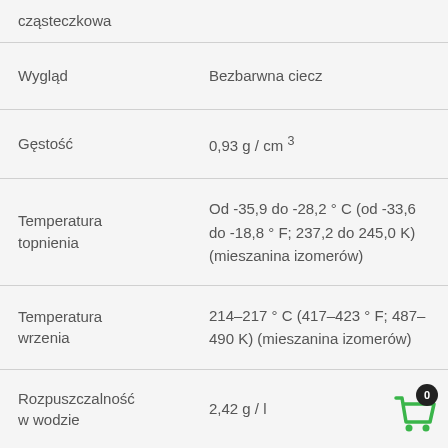| Property | Value |
| --- | --- |
| cząsteczkowa |  |
| Wygląd | Bezbarwna ciecz |
| Gęstość | 0,93  g / cm 3 |
| Temperatura topnienia | Od -35,9 do -28,2 ° C (od -33,6 do -18,8 ° F; 237,2 do 245,0 K) (mieszanina izomerów) |
| Temperatura wrzenia | 214–217 ° C (417–423 ° F; 487–490 K) (mieszanina izomerów) |
| Rozpuszczalność w wodzie | 2,42  g / l |